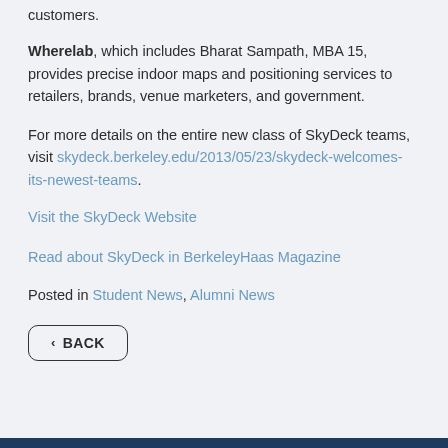customers.
Wherelab, which includes Bharat Sampath, MBA 15, provides precise indoor maps and positioning services to retailers, brands, venue marketers, and government.
For more details on the entire new class of SkyDeck teams, visit skydeck.berkeley.edu/2013/05/23/skydeck-welcomes-its-newest-teams.
Visit the SkyDeck Website
Read about SkyDeck in BerkeleyHaas Magazine
Posted in Student News, Alumni News